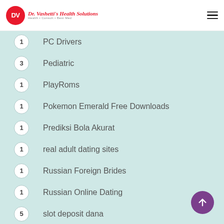DV Dr. Vashetis Health Solutions
1  PC Drivers
3  Pediatric
1  PlayRoms
1  Pokemon Emerald Free Downloads
1  Prediksi Bola Akurat
1  real adult dating sites
1  Russian Foreign Brides
1  Russian Online Dating
5  slot deposit dana
1  Slot Online